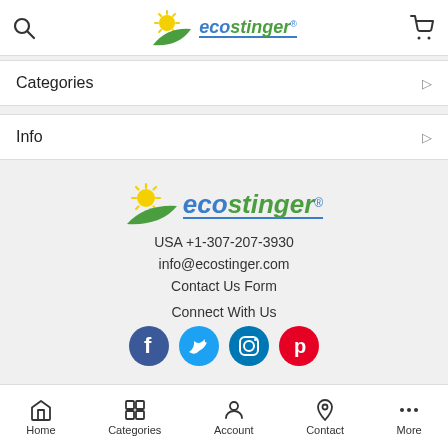ecostinger
Categories
Info
[Figure (logo): Ecostinger logo with sun and leaf graphic, blue and green text]
USA +1-307-207-3930
info@ecostinger.com
Contact Us Form
Connect With Us
[Figure (other): Social media icons: Facebook, Twitter, Instagram, Pinterest]
Home  Categories  Account  Contact  More